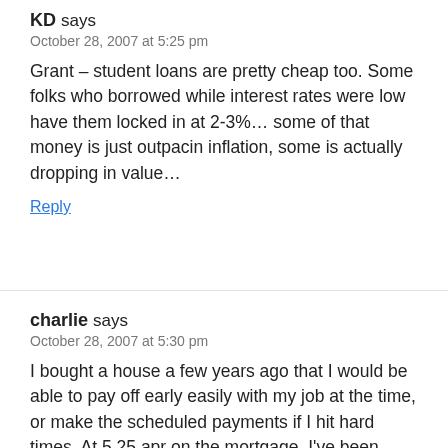KD says
October 28, 2007 at 5:25 pm
Grant – student loans are pretty cheap too. Some folks who borrowed while interest rates were low have them locked in at 2-3%… some of that money is just outpacin inflation, some is actually dropping in value…
Reply
charlie says
October 28, 2007 at 5:30 pm
I bought a house a few years ago that I would be able to pay off early easily with my job at the time, or make the scheduled payments if I hit hard times. At 5.25 apr on the mortgage, I've been putting the extra 'payments' into high yield savings (FNBO), and recently moved that